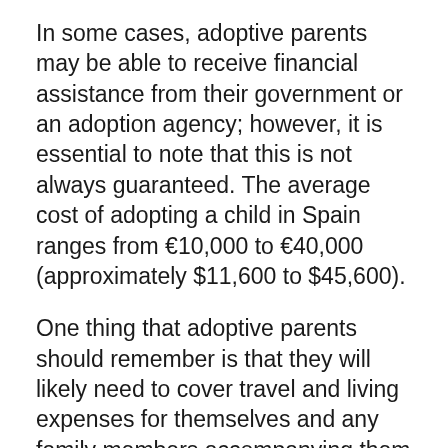In some cases, adoptive parents may be able to receive financial assistance from their government or an adoption agency; however, it is essential to note that this is not always guaranteed. The average cost of adopting a child in Spain ranges from €10,000 to €40,000 (approximately $11,600 to $45,600).
One thing that adoptive parents should remember is that they will likely need to cover travel and living expenses for themselves and any family members accompanying them during the adoption process.
How Many Children